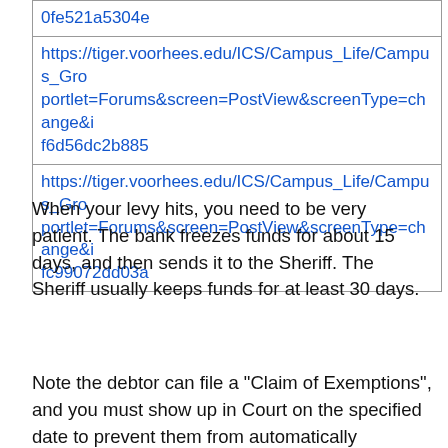| 0fe521a5304e |
| https://tiger.voorhees.edu/ICS/Campus_Life/Campus_Gro portlet=Forums&screen=PostView&screenType=change&i f6d56dc2b885 |
| https://tiger.voorhees.edu/ICS/Campus_Life/Campus_Gro portlet=Forums&screen=PostView&screenType=change&i fc99072dd03a |
When your levy hits, you need to be very patient. The bank freezes funds for about 15 days, and then sends it to the Sheriff. The Sheriff usually keeps funds for at least 30 days.
Note the debtor can file a "Claim of Exemptions", and you must show up in Court on the specified date to prevent them from automatically canceling your levy.
If you get a notice of this in the mail, visit your court and ask them how to proceed. In general you must file an opposition to their claim. If the debtor does not